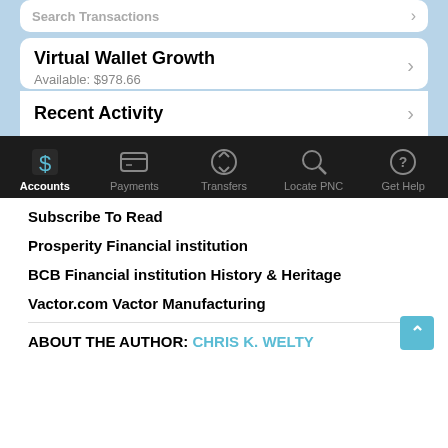[Figure (screenshot): Mobile banking app screenshot showing Virtual Wallet Growth account with Available: $978.66, Recent Activity section, and bottom navigation bar with Accounts (active), Payments, Transfers, Locate PNC, Get Help tabs]
Subscribe To Read
Prosperity Financial institution
BCB Financial institution History & Heritage
Vactor.com Vactor Manufacturing
ABOUT THE AUTHOR: CHRIS K. WELTY